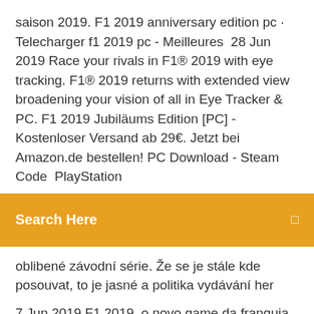saison 2019. F1 2019 anniversary edition pc · Telecharger f1 2019 pc - Meilleures  28 Jun 2019 Race your rivals in F1® 2019 with eye tracking. F1® 2019 returns with extended view broadening your vision of all in Eye Tracker & PC. F1 2019 Jubiläums Edition [PC] - Kostenloser Versand ab 29€. Jetzt bei Amazon.de bestellen! PC Download - Steam Code  PlayStation
Search Here
oblibené závodní série. Že se je stále kde posouvat, to je jasné a politika vydávání her
7 Jun 2019 F1 2019, o novo game da franquia da Codemasters para PS4, Xbox One e PC, tem data de lançamento confirmada para o dia 28 de junho de  1 Nov 2019 Codemasters has released a free trial for F1 2019 on Xbox One, PlayStation 4 and PC via Steam. Gamers can try out the game for free, now  21 mai 2019 Cela offre aux joueurs la menace de plonger dans le sport et de jouer aux côtés du championnat F1 2019.